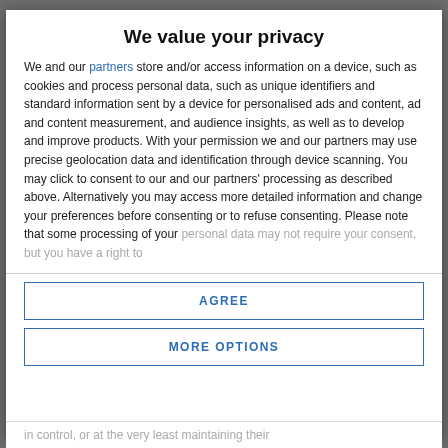We value your privacy
We and our partners store and/or access information on a device, such as cookies and process personal data, such as unique identifiers and standard information sent by a device for personalised ads and content, ad and content measurement, and audience insights, as well as to develop and improve products. With your permission we and our partners may use precise geolocation data and identification through device scanning. You may click to consent to our and our partners' processing as described above. Alternatively you may access more detailed information and change your preferences before consenting or to refuse consenting. Please note that some processing of your personal data may not require your consent, but you have a right to
AGREE
MORE OPTIONS
in control, or at the very least maintaining their